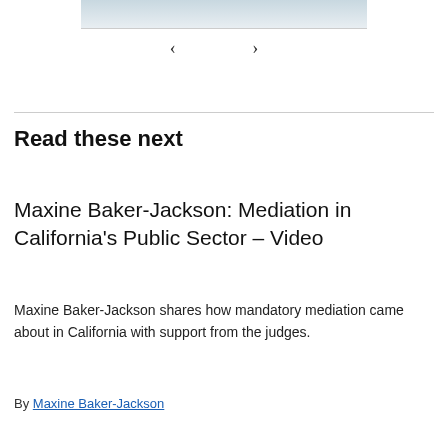[Figure (photo): Partial image strip visible at top of page]
‹ ›
Read these next
Maxine Baker-Jackson: Mediation in California's Public Sector – Video
Maxine Baker-Jackson shares how mandatory mediation came about in California with support from the judges.
By Maxine Baker-Jackson